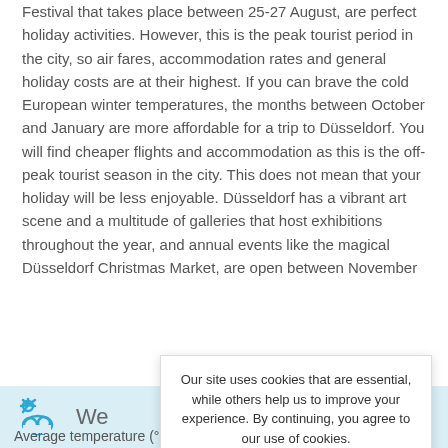Festival that takes place between 25-27 August, are perfect holiday activities. However, this is the peak tourist period in the city, so air fares, accommodation rates and general holiday costs are at their highest. If you can brave the cold European winter temperatures, the months between October and January are more affordable for a trip to Düsseldorf. You will find cheaper flights and accommodation as this is the off-peak tourist season in the city. This does not mean that your holiday will be less enjoyable. Düsseldorf has a vibrant art scene and a multitude of galleries that host exhibitions throughout the year, and annual events like the magical Düsseldorf Christmas Market, are open between November
[Figure (other): Weather section with sun/cloud icon and partial 'We' text label on a light blue background]
Average temperature (°C) & rainfall (mm) per month
Our site uses cookies that are essential, while others help us to improve your experience. By continuing, you agree to our use of cookies.
Read our Cookie and Privacy Policy
Dismiss
Got it!